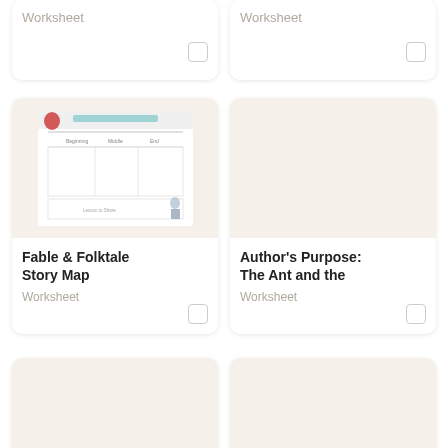[Figure (screenshot): Partial top card left - Worksheet with checkbox, white background]
Worksheet
[Figure (screenshot): Partial top card right - Worksheet with checkbox, white background]
Worksheet
[Figure (illustration): Fable & Folktale Story Map worksheet preview showing a story map template with Beginning, Middle, End columns and a red character illustration]
Fable & Folktale Story Map
Worksheet
[Figure (illustration): Author's Purpose: The Ant and the - beige/cream background, no visible content]
Author's Purpose: The Ant and the
Worksheet
[Figure (screenshot): Bottom left card - beige background, partial]
[Figure (screenshot): Bottom right card - beige background, partial]